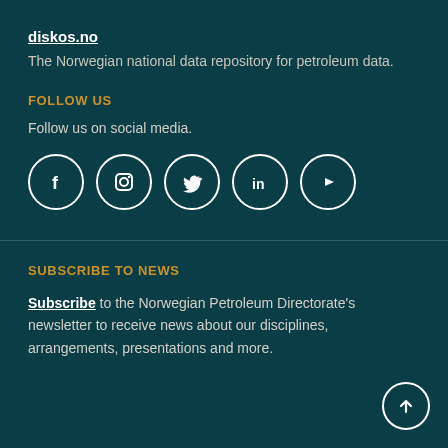diskos.no
The Norwegian national data repository for petroleum data.
FOLLOW US
Follow us on social media.
[Figure (illustration): Row of five social media icons in white circles: Facebook, Instagram, Twitter, LinkedIn, YouTube]
SUBSCRIBE TO NEWS
Subscribe to the Norwegian Petroleum Directorate's newsletter to receive news about our disciplines, arrangements, presentations and more.